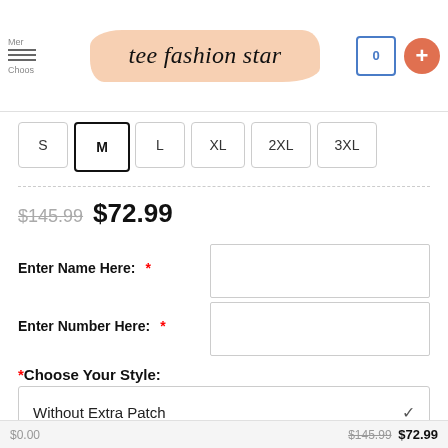tee fashion star — menu, cart (0), plus button
S
M (selected)
L
XL
2XL
3XL
$145.99  $72.99
Enter Name Here: *
Enter Number Here: *
*Choose Your Style:
Without Extra Patch
$0.00  $145.99  $72.99